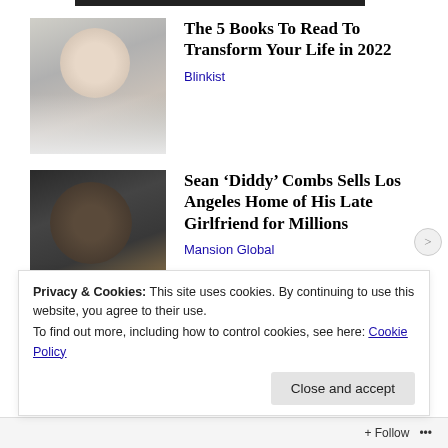[Figure (photo): Dark banner/image at top of page, partially visible]
The 5 Books To Read To Transform Your Life in 2022
Blinkist
Sean ‘Diddy’ Combs Sells Los Angeles Home of His Late Girlfriend for Millions
Mansion Global
Privacy & Cookies: This site uses cookies. By continuing to use this website, you agree to their use.
To find out more, including how to control cookies, see here: Cookie Policy
Close and accept